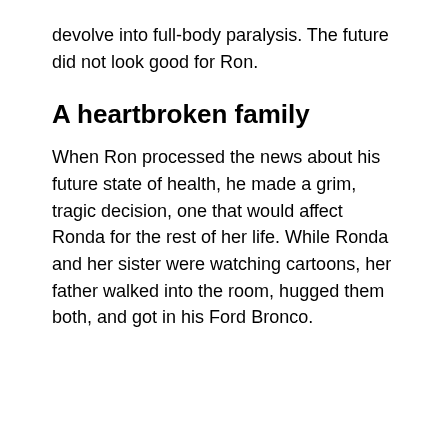devolve into full-body paralysis. The future did not look good for Ron.
A heartbroken family
When Ron processed the news about his future state of health, he made a grim, tragic decision, one that would affect Ronda for the rest of her life. While Ronda and her sister were watching cartoons, her father walked into the room, hugged them both, and got in his Ford Bronco.